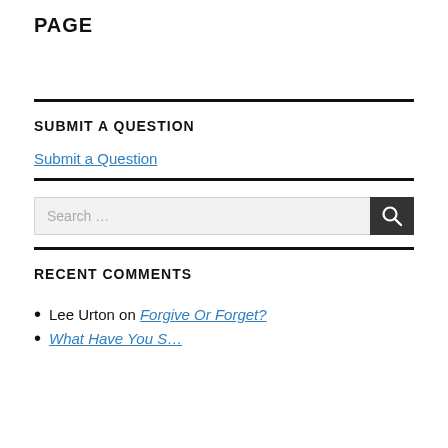PAGE
SUBMIT A QUESTION
Submit a Question
RECENT COMMENTS
Lee Urton on Forgive Or Forget?
[partial, cut off]